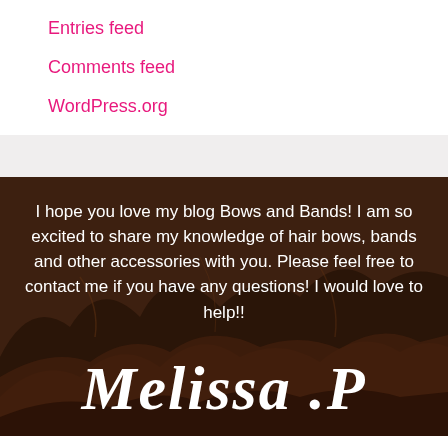Entries feed
Comments feed
WordPress.org
I hope you love my blog Bows and Bands! I am so excited to share my knowledge of hair bows, bands and other accessories with you. Please feel free to contact me if you have any questions! I would love to help!!
Melissa .P